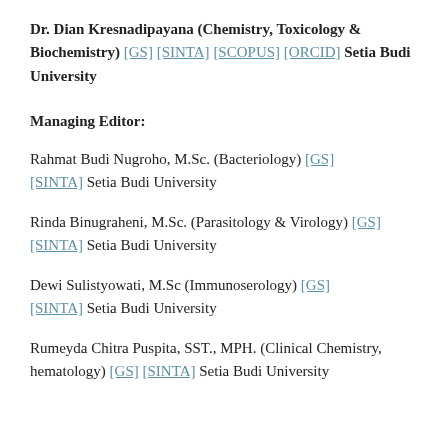Dr. Dian Kresnadipayana (Chemistry, Toxicology & Biochemistry) [GS] [SINTA] [SCOPUS] [ORCID] Setia Budi University
Managing Editor:
Rahmat Budi Nugroho, M.Sc. (Bacteriology) [GS] [SINTA] Setia Budi University
Rinda Binugraheni, M.Sc. (Parasitology & Virology) [GS] [SINTA] Setia Budi University
Dewi Sulistyowati, M.Sc (Immunoserology) [GS] [SINTA] Setia Budi University
Rumeyda Chitra Puspita, SST., MPH. (Clinical Chemistry, hematology) [GS] [SINTA] Setia Budi University